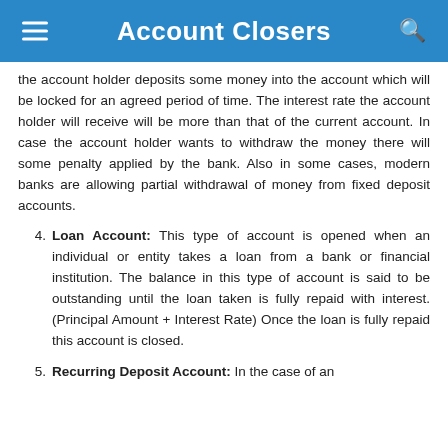Account Closers
the account holder deposits some money into the account which will be locked for an agreed period of time. The interest rate the account holder will receive will be more than that of the current account. In case the account holder wants to withdraw the money there will some penalty applied by the bank. Also in some cases, modern banks are allowing partial withdrawal of money from fixed deposit accounts.
Loan Account: This type of account is opened when an individual or entity takes a loan from a bank or financial institution. The balance in this type of account is said to be outstanding until the loan taken is fully repaid with interest. (Principal Amount + Interest Rate) Once the loan is fully repaid this account is closed.
Recurring Deposit Account: In the case of an